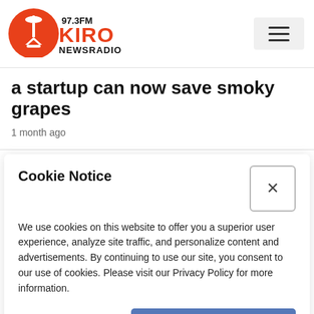[Figure (logo): KIRO 97.3FM NewsRadio logo with Space Needle icon in orange circle]
a startup can now save smoky grapes
1 month ago
Cookie Notice
We use cookies on this website to offer you a superior user experience, analyze site traffic, and personalize content and advertisements. By continuing to use our site, you consent to our use of cookies. Please visit our Privacy Policy for more information.
Continue